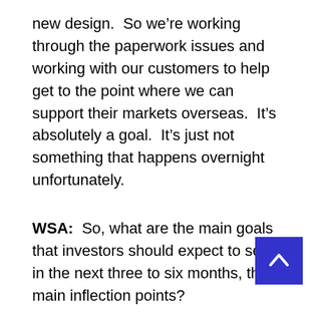new design.  So we're working through the paperwork issues and working with our customers to help get to the point where we can support their markets overseas.  It's absolutely a goal.  It's just not something that happens overnight unfortunately.
WSA:  So, what are the main goals that investors should expect to see in the next three to six months, the main inflection points?